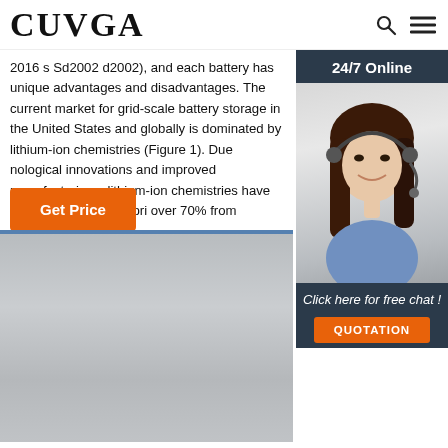CUVGA
2016 s Sd2002 d2002), and each battery has unique advantages and disadvantages. The current market for grid-scale battery storage in the United States and globally is dominated by lithium-ion chemistries (Figure 1). Due nological innovations and improved manufacturing c lithium-ion chemistries have experienced a steep pri over 70% from
[Figure (other): Get Price orange button]
[Figure (photo): 24/7 Online chat widget with woman wearing headset, dark blue background, Click here for free chat!, QUOTATION button]
[Figure (photo): Gray textured surface/material photo at bottom of page]